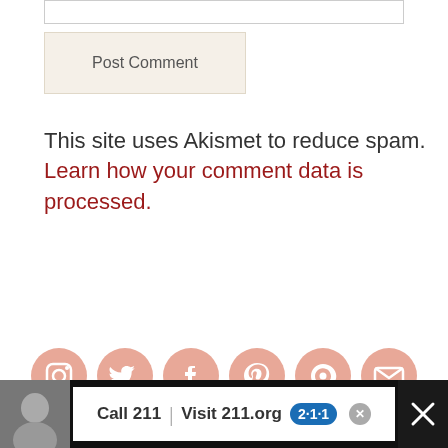Post Comment
This site uses Akismet to reduce spam. Learn how your comment data is processed.
[Figure (illustration): Row of six social media icon circles (Instagram, Twitter, Facebook, Pinterest, RSS, Email) in salmon/rose color]
Search …
[Figure (screenshot): Advertisement banner: Call 211 | Visit 211.org with 2-1-1 logo badge, child photo on left, close button on right]